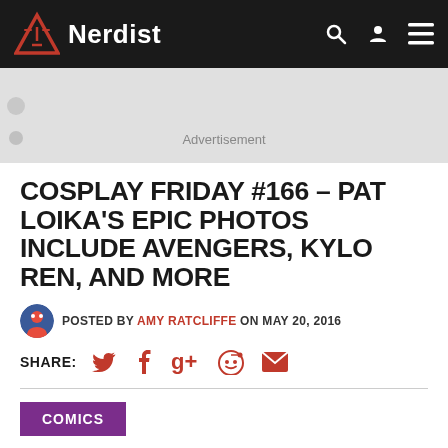Nerdist
COSPLAY FRIDAY #166 – PAT LOIKA'S EPIC PHOTOS INCLUDE AVENGERS, KYLO REN, AND MORE
POSTED BY AMY RATCLIFFE ON MAY 20, 2016
SHARE:
COMICS
In case you haven't noticed, cosplay is a thing. The hobby and, in some cases, profession has only grown in recent